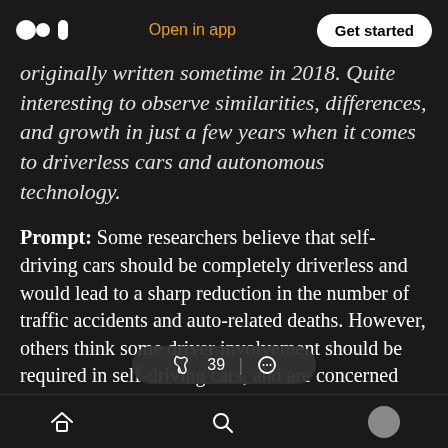Medium logo | Open in app | Get started
originally written sometime in 2018. Quite interesting to observe similarities, differences, and growth in just a few years when it comes to driverless cars and autonomous technology.
Prompt: Some researchers believe that self-driving cars should be completely driverless and would lead to a sharp reduction in the number of traffic accidents and auto-related deaths. However, others think some driver involvement should be required in self-driving cars, and are concerned about liability issues. How do you see technology changing roadway
Home | Search | Profile